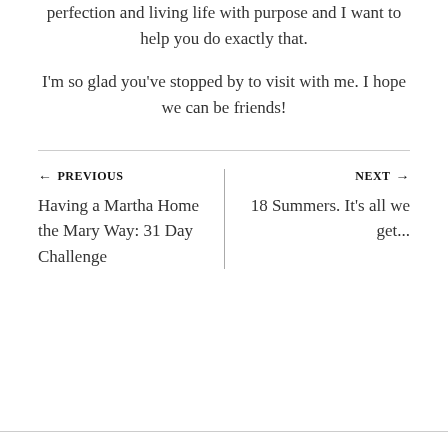perfection and living life with purpose and I want to help you do exactly that.
I'm so glad you've stopped by to visit with me. I hope we can be friends!
← PREVIOUS
Having a Martha Home the Mary Way: 31 Day Challenge
NEXT →
18 Summers. It's all we get...